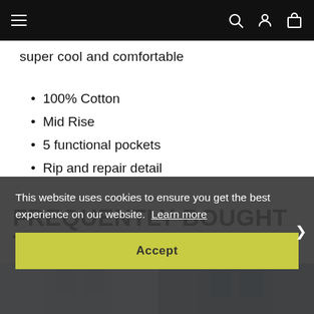Navigation bar with hamburger menu, search, account, and cart icons
super cool and comfortable
100% Cotton
Mid Rise
5 functional pockets
Rip and repair detail
FREQUENTLY BOUGHT TOGETHER
[Figure (photo): Two product photos of jeans side by side — light wash jeans on left, dark distressed jeans on right]
This website uses cookies to ensure you get the best experience on our website. Learn more
Accept